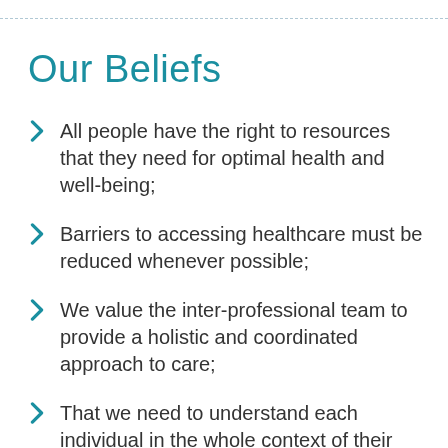Our Beliefs
All people have the right to resources that they need for optimal health and well-being;
Barriers to accessing healthcare must be reduced whenever possible;
We value the inter-professional team to provide a holistic and coordinated approach to care;
That we need to understand each individual in the whole context of their